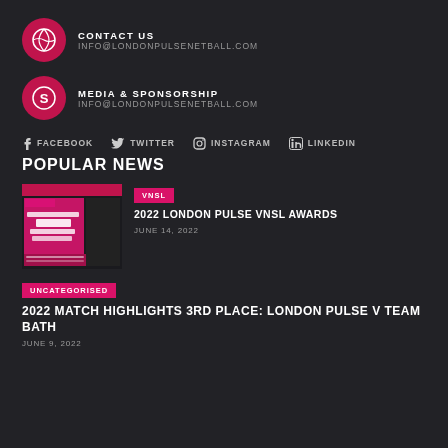CONTACT US
INFO@LONDONPULSENETBALL.COM
MEDIA & SPONSORSHIP
INFO@LONDONPULSENETBALL.COM
FACEBOOK
TWITTER
INSTAGRAM
LINKEDIN
POPULAR NEWS
VNSL
2022 LONDON PULSE VNSL AWARDS
JUNE 14, 2022
UNCATEGORISED
2022 MATCH HIGHLIGHTS 3RD PLACE: LONDON PULSE V TEAM BATH
JUNE 9, 2022